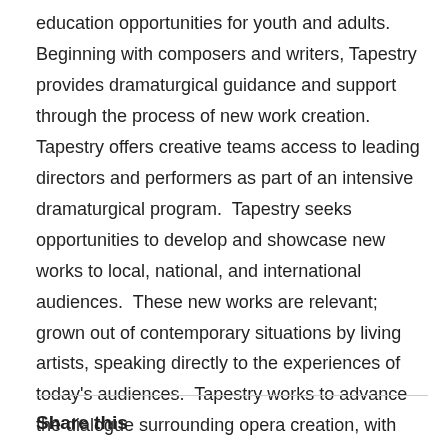education opportunities for youth and adults.  Beginning with composers and writers, Tapestry provides dramaturgical guidance and support through the process of new work creation.  Tapestry offers creative teams access to leading directors and performers as part of an intensive dramaturgical program.  Tapestry seeks opportunities to develop and showcase new works to local, national, and international audiences.  These new works are relevant; grown out of contemporary situations by living artists, speaking directly to the experiences of today's audiences.  Tapestry works to advance the dialogue surrounding opera creation, with each new project helping to redefine the art form. For more information on Tapestry visit www.tapestryopera.com.
Share this